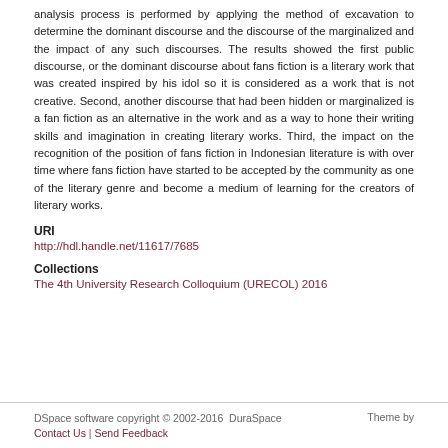analysis process is performed by applying the method of excavation to determine the dominant discourse and the discourse of the marginalized and the impact of any such discourses. The results showed the first public discourse, or the dominant discourse about fans fiction is a literary work that was created inspired by his idol so it is considered as a work that is not creative. Second, another discourse that had been hidden or marginalized is a fan fiction as an alternative in the work and as a way to hone their writing skills and imagination in creating literary works. Third, the impact on the recognition of the position of fans fiction in Indonesian literature is with over time where fans fiction have started to be accepted by the community as one of the literary genre and become a medium of learning for the creators of literary works.
URI
http://hdl.handle.net/11617/7685
Collections
The 4th University Research Colloquium (URECOL) 2016
DSpace software copyright © 2002-2016  DuraSpace
Contact Us | Send Feedback
Theme by